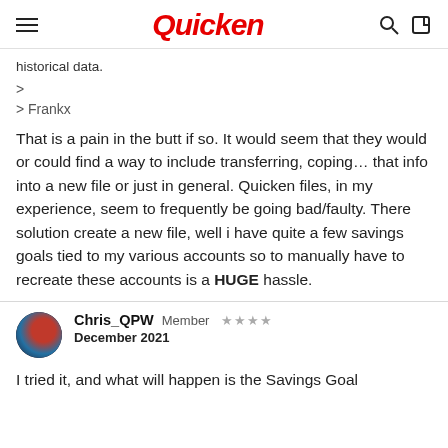Quicken
historical data.
>
> Frankx
That is a pain in the butt if so. It would seem that they would or could find a way to include transferring, coping... that info into a new file or just in general. Quicken files, in my experience, seem to frequently be going bad/faulty. There solution create a new file, well i have quite a few savings goals tied to my various accounts so to manually have to recreate these accounts is a HUGE hassle.
Chris_QPW  Member  ★★★★
December 2021
I tried it, and what will happen is the Savings Goal